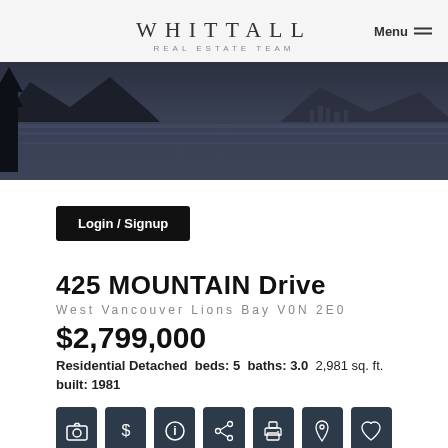WHITTALL REAL ESTATE TEAM
[Figure (photo): Aerial/waterfront photo of Lions Bay with mountains and water in dark twilight tones]
Login / Signup
425 MOUNTAIN Drive
West Vancouver Lions Bay V0N 2E0
$2,799,000
Residential Detached  beds: 5  baths: 3.0  2,981 sq. ft.  built: 1981
[Figure (infographic): Row of 7 icon buttons: camera, dollar sign, info, share, print, location pin, heart]
Details  Photos  Videos  Map